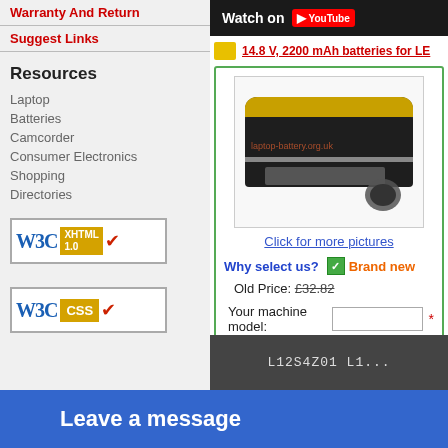Warranty And Return
Suggest Links
Resources
Laptop
Batteries
Camcorder
Consumer Electronics
Shopping
Directories
[Figure (logo): W3C XHTML 1.0 validation badge]
[Figure (logo): W3C CSS validation badge]
[Figure (screenshot): YouTube Watch On bar]
14.8 V, 2200 mAh batteries for LE...
[Figure (photo): Lenovo laptop battery product photo with watermark laptop-battery.org.uk]
Click for more pictures
Why select us?
Brand new
Old Price: £32.82
Your machine model:
Leave a message
L12S4Z01 L1...